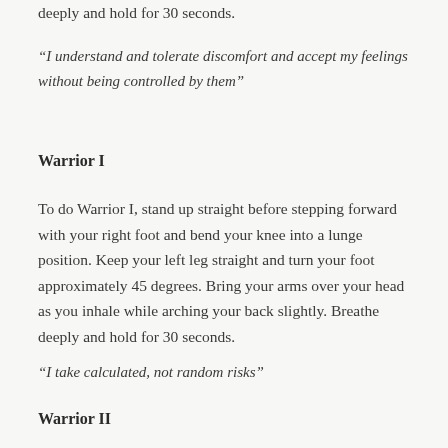deeply and hold for 30 seconds.
“I understand and tolerate discomfort and accept my feelings without being controlled by them”
Warrior I
To do Warrior I, stand up straight before stepping forward with your right foot and bend your knee into a lunge position. Keep your left leg straight and turn your foot approximately 45 degrees. Bring your arms over your head as you inhale while arching your back slightly. Breathe deeply and hold for 30 seconds.
“I take calculated, not random risks”
Warrior II